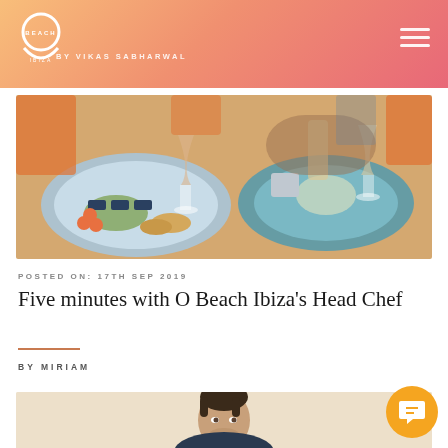O Beach Ibiza — By Vikas Sabharwal
[Figure (photo): Food photography showing blue plates with mezze dishes, breads, dips and small bites on a restaurant table with wine glasses and orange chairs in background]
POSTED ON: 17TH SEP 2019
Five minutes with O Beach Ibiza's Head Chef
BY MIRIAM
[Figure (photo): Portrait photo of male head chef, cropped showing face and upper torso, sandy/beige background]